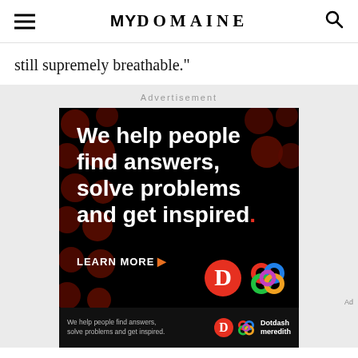MYDOMAINE
still supremely breathable."
Advertisement
[Figure (infographic): Dotdash Meredith advertisement on black background with dark red polka dots. White bold text reads: 'We help people find answers, solve problems and get inspired.' with a red period. Below: 'LEARN MORE' with orange arrow. Two logos: Dotdash (red circle with white D) and Meredith (colorful interlocking loops).]
[Figure (infographic): Bottom sticky ad bar: dark background with small text 'We help people find answers, solve problems and get inspired.' with Dotdash and Meredith logos on right, and 'Dotdash meredith' brand text.]